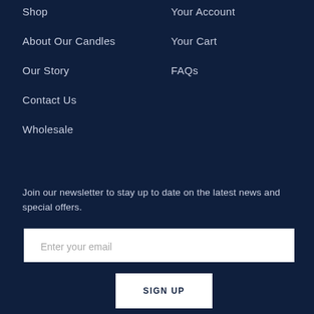Shop
Your Account
About Our Candles
Your Cart
Our Story
FAQs
Contact Us
Wholesale
Join our newsletter to stay up to date on the latest news and special offers.
Enter your email
SIGN UP
[Figure (other): Instagram icon (pink rounded square with circle outline) and Facebook icon (pink rounded square with f letter)]